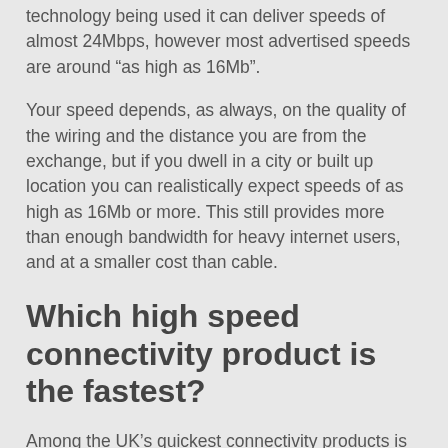technology being used it can deliver speeds of almost 24Mbps, however most advertised speeds are around “as high as 16Mb”.
Your speed depends, as always, on the quality of the wiring and the distance you are from the exchange, but if you dwell in a city or built up location you can realistically expect speeds of as high as 16Mb or more. This still provides more than enough bandwidth for heavy internet users, and at a smaller cost than cable.
Which high speed connectivity product is the fastest?
Among the UK’s quickest connectivity products is